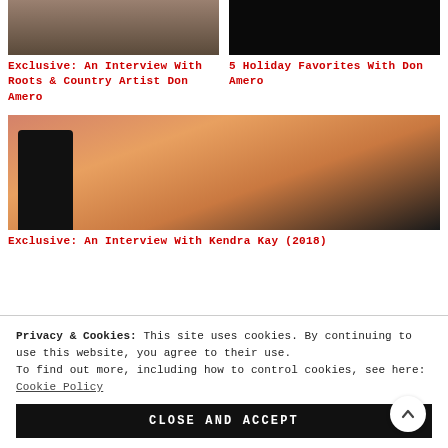[Figure (photo): Thumbnail photo for Don Amero article]
Exclusive: An Interview With Roots & Country Artist Don Amero
[Figure (photo): Dark thumbnail photo for 5 Holiday Favorites article]
5 Holiday Favorites With Don Amero
[Figure (photo): Photo of Kendra Kay sitting outdoors with warm background]
Exclusive: An Interview With Kendra Kay (2018)
Privacy & Cookies: This site uses cookies. By continuing to use this website, you agree to their use.
To find out more, including how to control cookies, see here: Cookie Policy
CLOSE AND ACCEPT